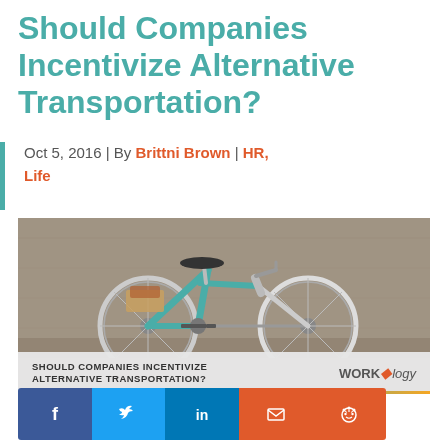Should Companies Incentivize Alternative Transportation?
Oct 5, 2016 | By Brittni Brown | HR, Life
[Figure (photo): Photo of a teal/green bicycle leaning against a concrete wall, with an overlay banner reading 'SHOULD COMPANIES INCENTIVIZE ALTERNATIVE TRANSPORTATION?' and the Workology logo.]
[Figure (infographic): Social sharing buttons row: Facebook (blue), Twitter (light blue), LinkedIn (dark blue), Email (orange-red), Reddit (orange-red)]